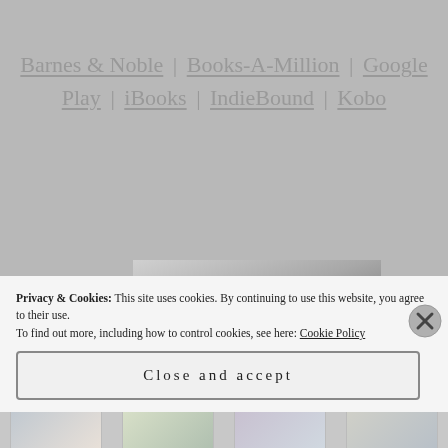Barnes & Noble | Books-A-Million | Google Play | iBooks | IndieBound | Kobo
[Figure (photo): Black and white photograph of a woman, partially visible, with long dark hair. Top portion of head and hair visible.]
[Figure (photo): Bottom strip showing partial book cover thumbnails in color.]
Privacy & Cookies: This site uses cookies. By continuing to use this website, you agree to their use.
To find out more, including how to control cookies, see here: Cookie Policy
Close and accept